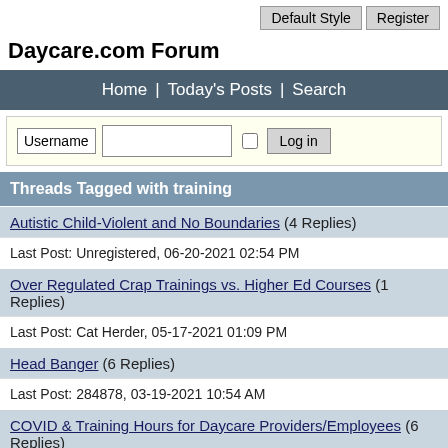Default Style   Register
Daycare.com Forum
Home | Today's Posts | Search
Username  [text input] [checkbox] Log in
Threads Tagged with training
Autistic Child-Violent and No Boundaries (4 Replies)
Last Post: Unregistered, 06-20-2021 02:54 PM
Over Regulated Crap Trainings vs. Higher Ed Courses (1 Replies)
Last Post: Cat Herder, 05-17-2021 01:09 PM
Head Banger (6 Replies)
Last Post: 284878, 03-19-2021 10:54 AM
COVID & Training Hours for Daycare Providers/Employees (6 Replies)
Last Post: satcook, 09-22-2020 04:19 PM
Affordable Training (5 Replies)
Last Post: 284878, 02-15-2020 06:45 AM
Vaccine Exemption (18 Replies)